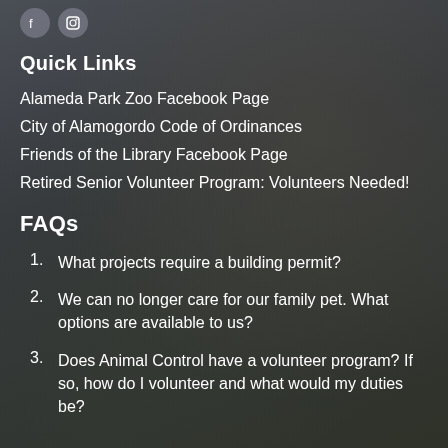Quick Links
Alameda Park Zoo Facebook Page
City of Alamogordo Code of Ordinances
Friends of the Library Facebook Page
Retired Senior Volunteer Program: Volunteers Needed!
FAQs
1. What projects require a building permit?
2. We can no longer care for our family pet. What options are available to us?
3. Does Animal Control have a volunteer program? If so, how do I volunteer and what would my duties be?